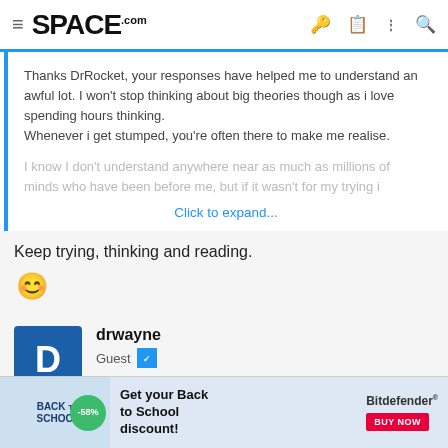SPACE.com
Thanks DrRocket, your responses have helped me to understand an awful lot. I won't stop thinking about big theories though as i love spending hours thinking.
Whenever i get stumped, you're often there to make me realise.
I know I don't understand anywhere near as much as millions of minds who have been before me, but if it wasn't for my trying i
Click to expand...
Keep trying, thinking and reading.
🙂
drwayne
Guest
[Figure (infographic): Back to School advertisement banner with -58% discount badge and Bitdefender branding with BUY NOW button]